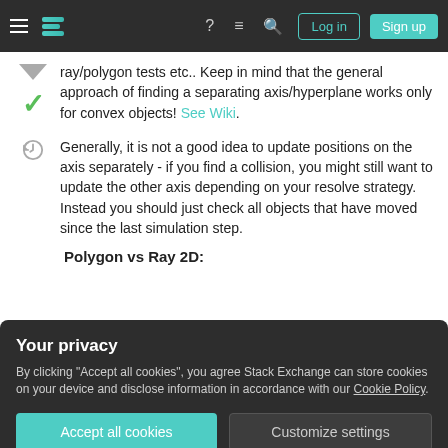[Figure (screenshot): Stack Exchange navigation bar with hamburger menu, logo, question mark icon, chat icon, search icon, Log in button, and Sign up button]
ray/polygon tests etc.. Keep in mind that the general approach of finding a separating axis/hyperplane works only for convex objects! See Wiki.
Generally, it is not a good idea to update positions on the axis separately - if you find a collision, you might still want to update the other axis depending on your resolve strategy. Instead you should just check all objects that have moved since the last simulation step.
Polygon vs Ray 2D:
Your privacy
By clicking "Accept all cookies", you agree Stack Exchange can store cookies on your device and disclose information in accordance with our Cookie Policy.
Polygon vs ray works by first intersecting the ray